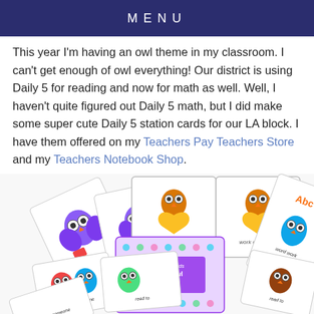MENU
This year I'm having an owl theme in my classroom. I can't get enough of owl everything! Our district is using Daily 5 for reading and now for math as well. Well, I haven't quite figured out Daily 5 math, but I did make some super cute Daily 5 station cards for our LA block. I have them offered on my Teachers Pay Teachers Store and my Teachers Notebook Shop.
[Figure (illustration): Fan of owl-themed Daily 5 station cards spread out, showing cards with cartoon owls labeled 'Listen to Reading', 'Work on Writing', 'Word Work', 'Read to Someone', 'Read to Self', with a central title card reading 'Daily 5 With Owl Theme']